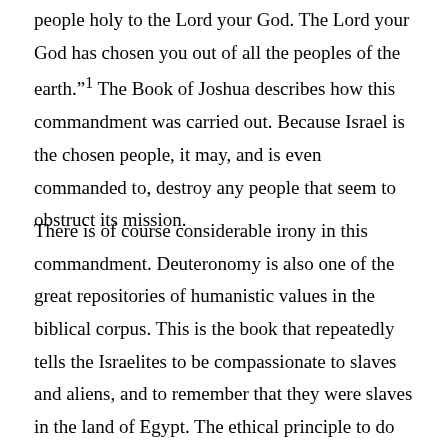people holy to the Lord your God. The Lord your God has chosen you out of all the peoples of the earth."1 The Book of Joshua describes how this commandment was carried out. Because Israel is the chosen people, it may, and is even commanded to, destroy any people that seem to obstruct its mission.
There is of course considerable irony in this commandment. Deuteronomy is also one of the great repositories of humanistic values in the biblical corpus. This is the book that repeatedly tells the Israelites to be compassionate to slaves and aliens, and to remember that they were slaves in the land of Egypt. The ethical principle to do unto others as you would have them do unto you was not an innovation of the New Testament.2 The laws on slaves and aliens in Deuteronomy show an appreciation of what Emmanuel Levinas calls “the face of the other”3 as human and call for empathy with our fellow human beings. But this empathy does